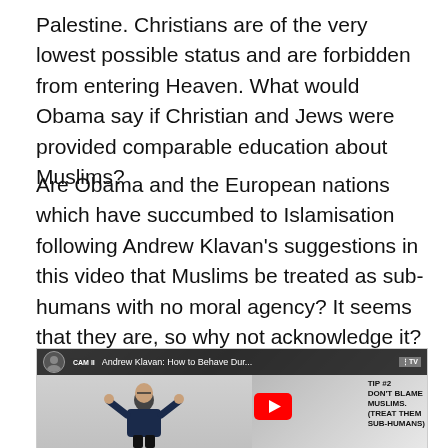Palestine. Christians are of the very lowest possible status and are forbidden from entering Heaven. What would Obama say if Christian and Jews were provided comparable education about Muslims?
Are Obama and the European nations which have succumbed to Islamisation following Andrew Klavan's suggestions in this video that Muslims be treated as sub-humans with no moral agency? It seems that they are, so why not acknowledge it?
[Figure (screenshot): YouTube video thumbnail for 'Andrew Klavan: How to Behave Dur...' showing a man with hands raised and text reading 'TIP #2 DON'T BLAME MUSLIMS. (TREAT THEM SUB-HUMANS)' with a YouTube play button overlay.]